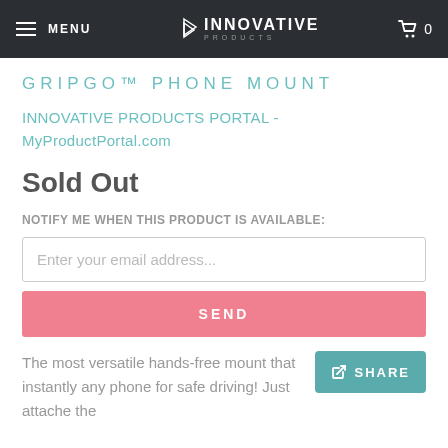MENU  INNOVATIVE PRODUCTS  0
GRIPGO™ PHONE MOUNT
INNOVATIVE PRODUCTS PORTAL - MyProductPortal.com
Sold Out
NOTIFY ME WHEN THIS PRODUCT IS AVAILABLE:
Enter your email address...
SEND
The most versatile hands-free mount that instantly any phone for safe driving! Just attache the
SHARE